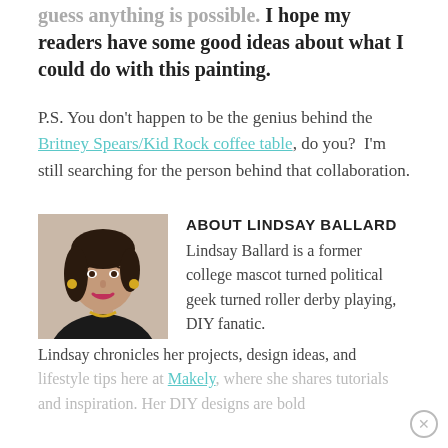guess anything is possible. I hope my readers have some good ideas about what I could do with this painting.
P.S. You don't happen to be the genius behind the Britney Spears/Kid Rock coffee table, do you?  I'm still searching for the person behind that collaboration.
[Figure (photo): Headshot photo of Lindsay Ballard, a woman with dark hair, wearing a black jacket and gold necklace, smiling]
ABOUT LINDSAY BALLARD
Lindsay Ballard is a former college mascot turned political geek turned roller derby playing, DIY fanatic.
Lindsay chronicles her projects, design ideas, and lifestyle tips here at Makely, where she shares tutorials and inspiration. Her DIY designs are bold